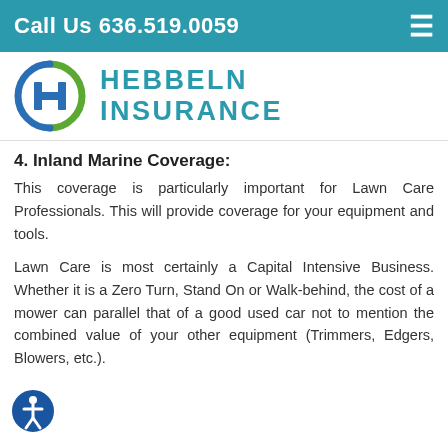Call Us 636.519.0059
[Figure (logo): Hebbeln Insurance logo with circular H emblem in blue and green, and company name in teal text]
4. Inland Marine Coverage:
This coverage is particularly important for Lawn Care Professionals. This will provide coverage for your equipment and tools.
Lawn Care is most certainly a Capital Intensive Business. Whether it is a Zero Turn, Stand On or Walk-behind, the cost of a mower can parallel that of a good used car not to mention the combined value of your other equipment (Trimmers, Edgers, Blowers, etc.).